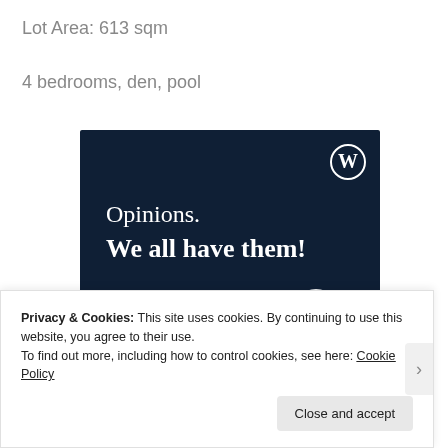Lot Area: 613 sqm
4 bedrooms, den, pool
[Figure (illustration): WordPress advertisement banner with dark navy background, WordPress logo (W in circle) top right, text 'Opinions. We all have them!' in white serif font, pink button and white circle at bottom]
Privacy & Cookies: This site uses cookies. By continuing to use this website, you agree to their use.
To find out more, including how to control cookies, see here: Cookie Policy
Close and accept